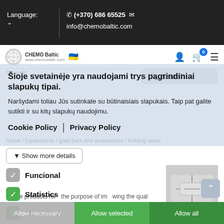Language:  (+370) 686 65525  info@chemobaltic.com
[Figure (screenshot): Website navigation bar with CHEMO Baltic logo, flag icons, user icon, cart icon (badge 0), and hamburger menu]
Šioje svetainėje yra naudojami trys pagrindiniai slapukų tipai.
Naršydami toliau Jūs sutinkate su būtinaisiais slapukais. Taip pat galite sutikti ir su kitų slapukų naudojimu.
Cookie Policy | Privacy Policy
Home / Equipments / grab bars and accessories / Folding seats
▾ Show more details
Funcional
Statistics
Marketing
[Figure (photo): Product image - folding seat/grab bar accessory, grey background]
These products for the purpose of improving the qual
Allow necessary  Allow selected  Allow all